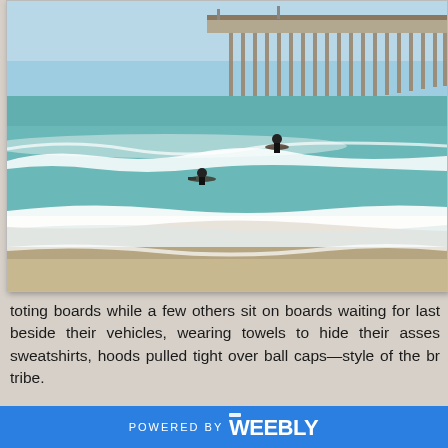[Figure (photo): Beach scene showing surfers in the ocean waves near a long wooden pier extending into the sea. The sky is light blue, the water is teal-green, and white foam waves are visible. Two surfers are visible in the water — one riding a wave and one paddling.]
toting boards while a few others sit on boards waiting for last beside their vehicles, wearing towels to hide their asses sweatshirts, hoods pulled tight over ball caps—style of the br tribe.
This is my occasional after-dinner ritual. Sitting and watchi
POWERED BY weebly